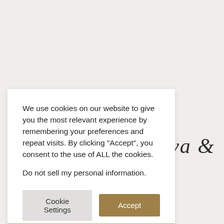[Figure (screenshot): Website background with light beige/grey color and partially visible serif italic text 'nva &' on the right side]
We use cookies on our website to give you the most relevant experience by remembering your preferences and repeat visits. By clicking "Accept", you consent to the use of ALL the cookies.
Do not sell my personal information.
Cookie Settings
Accept